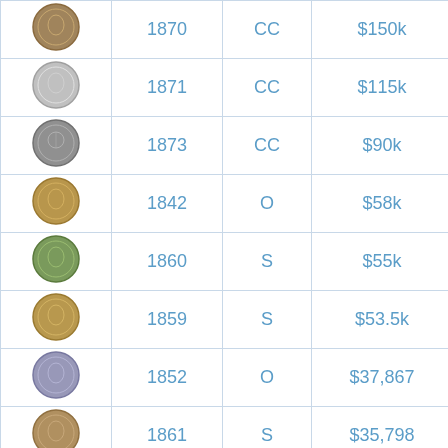| Coin Image | Year | Mint | Price |
| --- | --- | --- | --- |
| [coin] | 1870 | CC | $150k |
| [coin] | 1871 | CC | $115k |
| [coin] | 1873 | CC | $90k |
| [coin] | 1842 | O | $58k |
| [coin] | 1860 | S | $55k |
| [coin] | 1859 | S | $53.5k |
| [coin] | 1852 | O | $37,867 |
| [coin] | 1861 | S | $35,798 |
| [coin] | 1872 | CC | $35,310 |
| [coin] |  |  |  |